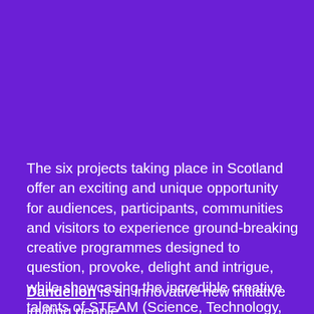The six projects taking place in Scotland offer an exciting and unique opportunity for audiences, participants, communities and visitors to experience ground-breaking creative programmes designed to question, provoke, delight and intrigue, while showcasing the incredible creative talents of STEAM (Science, Technology, Engineering, Arts, Maths) practitioners across Scotland and the UK.
Dandelion is an innovative new initiative inviting people